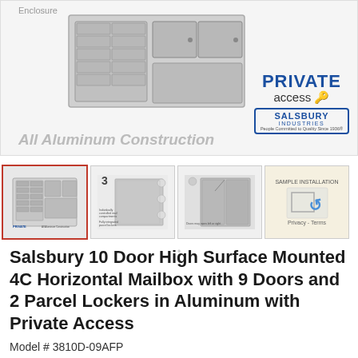[Figure (photo): Salsbury 4C horizontal mailbox product image showing large surface mounted aluminum mailbox unit with multiple doors, displayed with 'All Aluminum Construction' text. PRIVATE access and Salsbury Industries branding visible.]
[Figure (photo): Thumbnail 1: Mailbox product overview image selected (red border)]
[Figure (photo): Thumbnail 2: Step 3 diagram showing mailbox installation details]
[Figure (photo): Thumbnail 3: Mailbox with open doors showing interior]
[Figure (other): Thumbnail 4: reCAPTCHA widget with Privacy - Terms text]
Salsbury 10 Door High Surface Mounted 4C Horizontal Mailbox with 9 Doors and 2 Parcel Lockers in Aluminum with Private Access
Model # 3810D-09AFP